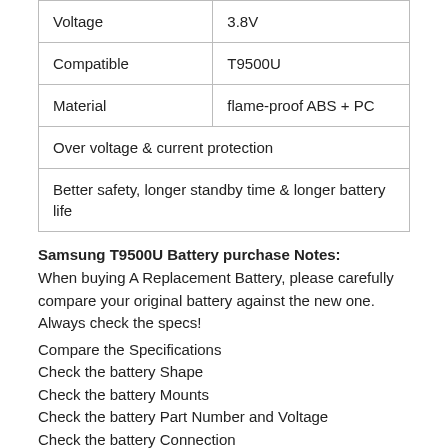| Voltage | 3.8V |
| Compatible | T9500U |
| Material | flame-proof ABS + PC |
| Over voltage & current protection |  |
| Better safety, longer standby time & longer battery life |  |
Samsung T9500U Battery purchase Notes:
When buying A Replacement Battery, please carefully compare your original battery against the new one. Always check the specs!
Compare the Specifications
Check the battery Shape
Check the battery Mounts
Check the battery Part Number and Voltage
Check the battery Connection